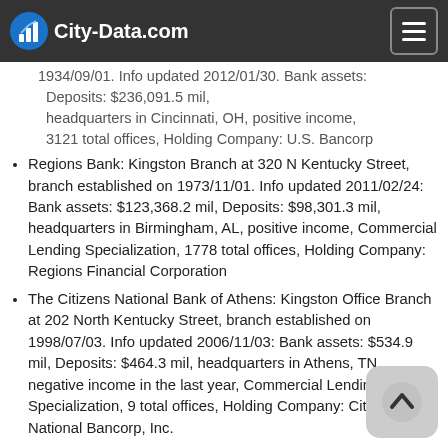City-Data.com
1934/09/01. Info updated 2012/01/30. Bank assets: Deposits: $236,091.5 mil, headquarters in Cincinnati, OH, positive income, 3121 total offices, Holding Company: U.S. Bancorp
Regions Bank: Kingston Branch at 320 N Kentucky Street, branch established on 1973/11/01. Info updated 2011/02/24: Bank assets: $123,368.2 mil, Deposits: $98,301.3 mil, headquarters in Birmingham, AL, positive income, Commercial Lending Specialization, 1778 total offices, Holding Company: Regions Financial Corporation
The Citizens National Bank of Athens: Kingston Office Branch at 202 North Kentucky Street, branch established on 1998/07/03. Info updated 2006/11/03: Bank assets: $534.9 mil, Deposits: $464.3 mil, headquarters in Athens, TN, negative income in the last year, Commercial Lending Specialization, 9 total offices, Holding Company: Citizens National Bancorp, Inc.
Bank of America, National Association: Kingston